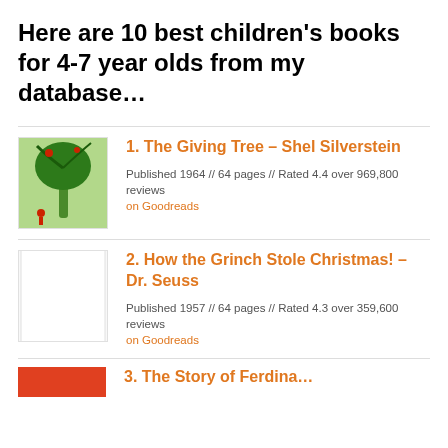Here are 10 best children's books for 4-7 year olds from my database…
1. The Giving Tree – Shel Silverstein
Published 1964 // 64 pages // Rated 4.4 over 969,800 reviews on Goodreads
2. How the Grinch Stole Christmas! – Dr. Seuss
Published 1957 // 64 pages // Rated 4.3 over 359,600 reviews on Goodreads
3. The Story of Ferdinand – (partial)